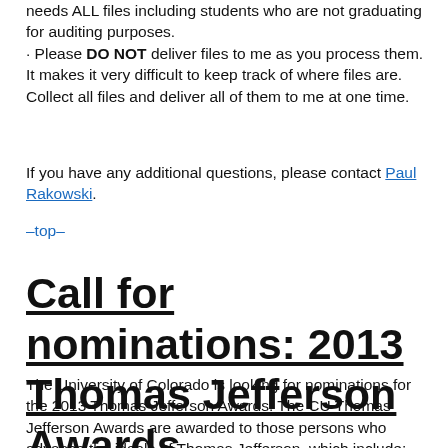needs ALL files including students who are not graduating for auditing purposes.
· Please DO NOT deliver files to me as you process them. It makes it very difficult to keep track of where files are. Collect all files and deliver all of them to me at one time.
If you have any additional questions, please contact Paul Rakowski.
–top–
Call for nominations: 2013 Thomas Jefferson Awards
The University of Colorado is looking for nominations for the 2013 Thomas Jefferson Awards. The CU Thomas Jefferson Awards are awarded to those persons who advance the ideals of Thomas Jefferson, which include: